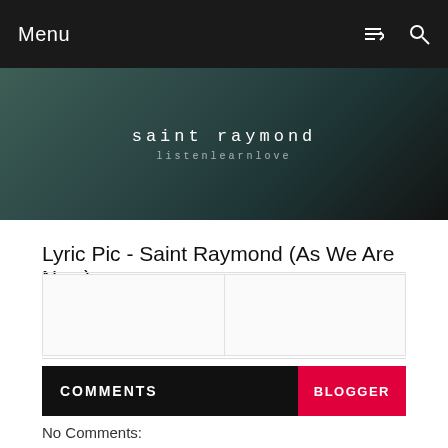Menu
[Figure (screenshot): Blog header image with dark teal/green gradient background showing 'saint raymond' and 'listenlearnlove' in monospace text]
Lyric Pic - Saint Raymond (As We Are Now)
[Figure (other): Two-column image placeholder area divided by a vertical line]
COMMENTS   BLOGGER
No Comments:
[Figure (other): User avatar circle icon with Enter Comment input field]